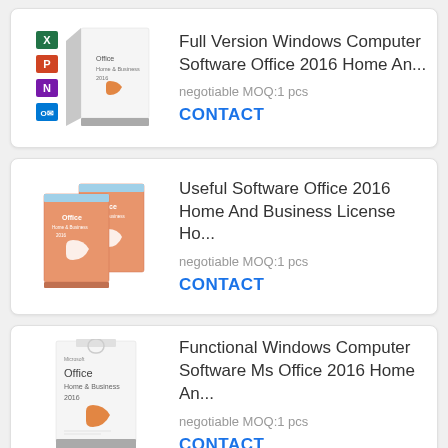[Figure (illustration): Microsoft Office Home & Business 2016 box product image with colorful app icons]
Full Version Windows Computer Software Office 2016 Home An...
negotiable MOQ:1 pcs
CONTACT
[Figure (illustration): Two Microsoft Office Home & Business 2016 orange boxes product image]
Useful Software Office 2016 Home And Business License Ho...
negotiable MOQ:1 pcs
CONTACT
[Figure (illustration): Microsoft Office Home & Business 2016 white box product image]
Functional Windows Computer Software Ms Office 2016 Home An...
negotiable MOQ:1 pcs
CONTACT